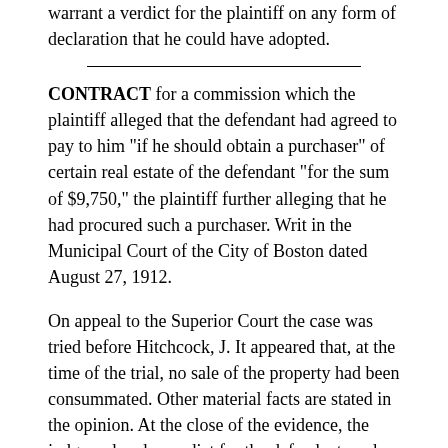warrant a verdict for the plaintiff on any form of declaration that he could have adopted.
CONTRACT for a commission which the plaintiff alleged that the defendant had agreed to pay to him "if he should obtain a purchaser" of certain real estate of the defendant "for the sum of $9,750," the plaintiff further alleging that he had procured such a purchaser. Writ in the Municipal Court of the City of Boston dated August 27, 1912.
On appeal to the Superior Court the case was tried before Hitchcock, J. It appeared that, at the time of the trial, no sale of the property had been consummated. Other material facts are stated in the opinion. At the close of the evidence, the judge ordered a verdict for the defendant; and the plaintiff alleged exceptions.